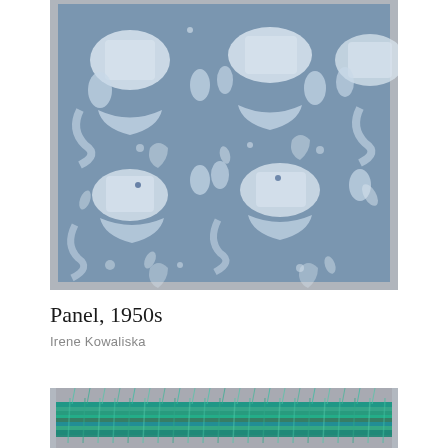[Figure (photo): Photograph of a textile panel from the 1950s featuring a blue and white printed fabric with repeating motif of stylized figures, boats, mermaids, and decorative elements on a steel blue background.]
Panel, 1950s
Irene Kowaliska
[Figure (photo): Photograph of a woven textile fragment showing teal, green, and blue woven threads forming a horizontal band, partially cut off at the bottom of the page.]